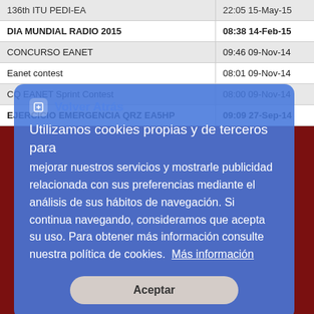| Event | DateTime |
| --- | --- |
| 136th ITU PEDI-EA | 22:05 15-May-15 |
| DIA MUNDIAL RADIO 2015 | 08:38 14-Feb-15 |
| CONCURSO EANET | 09:46 09-Nov-14 |
| Eanet contest | 08:01 09-Nov-14 |
| CQ EANET Sprint Contest | 08:00 09-Nov-14 |
| EJERCICIO EMERGENCIA QRZ EA5HP | 09:09 27-Sep-14 |
Volver Atrás
Utilizamos cookies propias y de terceros para mejorar nuestros servicios y mostrarle publicidad relacionada con sus preferencias mediante el análisis de sus hábitos de navegación. Si continua navegando, consideramos que acepta su uso. Para obtener más información consulte nuestra política de cookies.  Más información
Aceptar